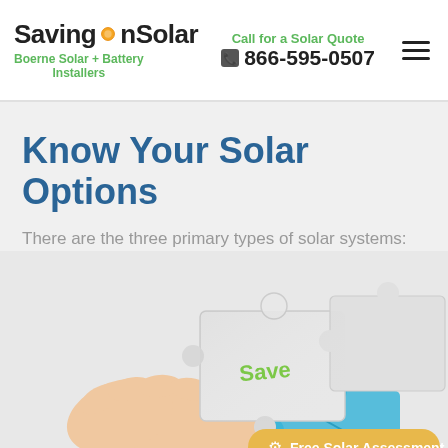SavingOnSolar — Boerne Solar + Battery Installers | Call for a Solar Quote 866-595-0507
Know Your Solar Options
There are the three primary types of solar systems:
[Figure (photo): Hand holding a white puzzle piece with green 'Save' text, fitting into other puzzle pieces, one of which is blue. A yellow 'Free Solar Assessment' CTA button overlays the bottom right.]